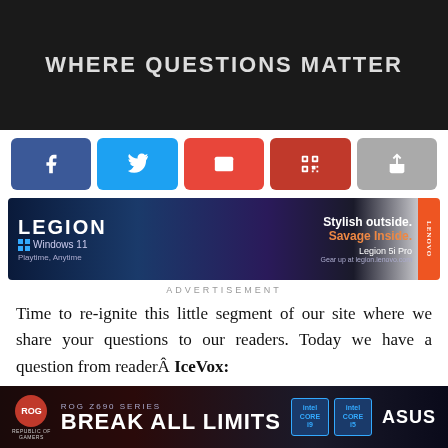[Figure (screenshot): Dark banner with website header, partially visible text 'WHERE QUESTIONS MATTER']
[Figure (infographic): Social share buttons: Facebook (blue), Twitter (light blue), Email (red), QR code (dark red), Share (grey)]
[Figure (photo): Lenovo Legion laptop advertisement banner: LEGION, Windows 11, Playtime Anytime, Stylish outside. Savage inside. Legion 5i Pro, Gear up at legion.lenovo.com, Lenovo branding on red tab]
ADVERTISEMENT
Time to re-ignite this little segment of our site where we share your questions to our readers. Today we have a question from readerÂ IceVox:
[quote]
I know you guys have the GIGABYTE G1 Sniper 5 and I
[Figure (screenshot): ASUS ROG Z690 Series advertisement: BREAK ALL LIMITS with Intel Core processor chips and ROG branding]